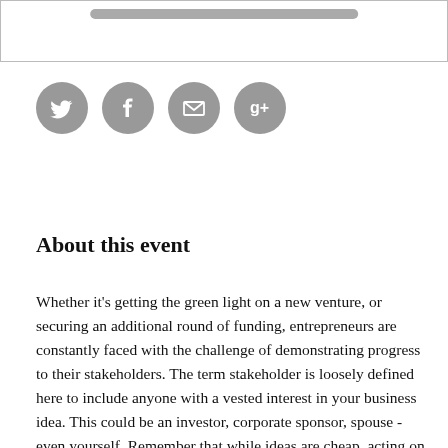[Figure (other): Top banner/box region with a rounded rectangular button or bar element inside]
[Figure (other): Four social media icon buttons (Twitter, Facebook, Email/Envelope, Google+) displayed as grey circles with white icons]
About this event
Whether it's getting the green light on a new venture, or securing an additional round of funding, entrepreneurs are constantly faced with the challenge of demonstrating progress to their stakeholders. The term stakeholder is loosely defined here to include anyone with a vested interest in your business idea. This could be an investor, corporate sponsor, spouse - even yourself. Remember that while ideas are cheap, acting on them can consume years of your life. Up until now, we have typically relied on two measures of progress: how much stuff we're building and how much money we are making. Both of these are unreliable